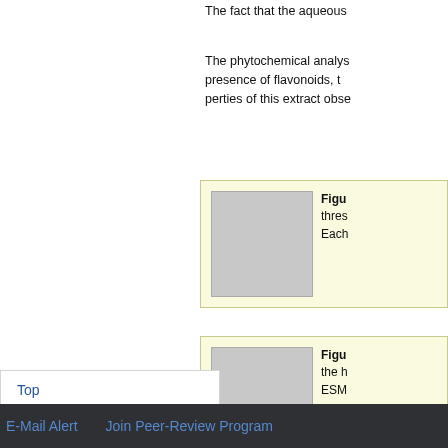The fact that the aqueous
The phytochemical analys presence of flavonoids, t perties of this extract obse
[Figure (other): Figure box with placeholder image thumbnail, bold 'Figu' heading, text starting with 'thres' and 'Each']
[Figure (other): Figure box with placeholder image thumbnail, bold 'Figu' heading, text starting with 'the h' and 'ESM']
Top
ABSTRACT
Introduction
Materials and Methods
Analgesic effect
Results and Discussion
E-Mail Alert    Join Peer-Review Program